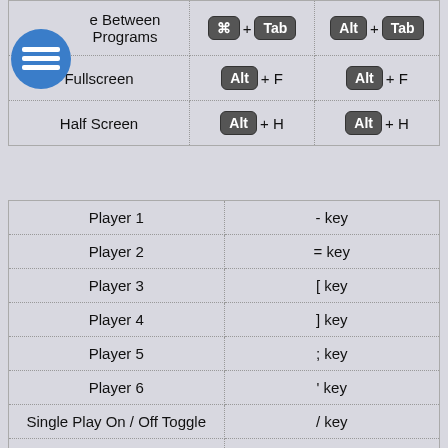| Action | Mac | Windows/Linux |
| --- | --- | --- |
| Switch Between Programs | ⌘ + Tab | Alt + Tab |
| Fullscreen | Alt + F | Alt + F |
| Half Screen | Alt + H | Alt + H |
| Action | Key |
| --- | --- |
| Player 1 | - key |
| Player 2 | = key |
| Player 3 | [ key |
| Player 4 | ] key |
| Player 5 | ; key |
| Player 6 | ' key |
| Single Play On / Off Toggle | / key |
| Global Hot Key Temporary Off | \ key |
| Global Hot Key Temporary On | ` key (on same key as ~) |